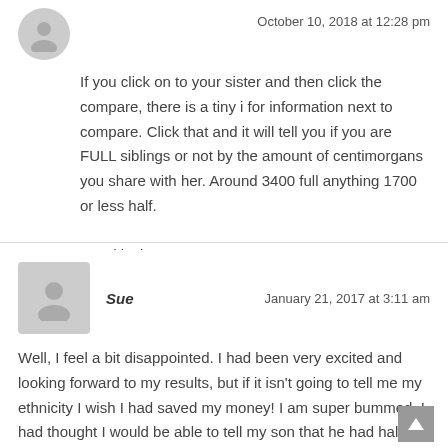[Figure (illustration): Anonymous user avatar (grey circle with person silhouette)]
October 10, 2018 at 12:28 pm
If you click on to your sister and then click the compare, there is a tiny i for information next to compare. Click that and it will tell you if you are FULL siblings or not by the amount of centimorgans you share with her. Around 3400 full anything 1700 or less half.
Good luck.
[Figure (illustration): User avatar for Sue (grey rounded square with person silhouette)]
Sue
January 21, 2017 at 3:11 am
Well, I feel a bit disappointed. I had been very excited and looking forward to my results, but if it isn't going to tell me my ethnicity I wish I had saved my money! I am super bummed. I had thought I would be able to tell my son that he had half my dna ??? But he may not? I could be Irish and my son not Irish?